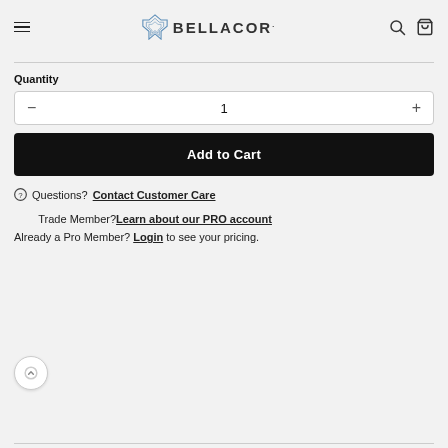BELLACOR
Quantity
1
Add to Cart
Questions? Contact Customer Care
Trade Member? Learn about our PRO account
Already a Pro Member? Login to see your pricing.